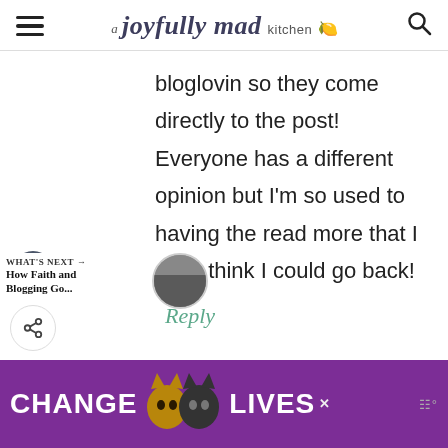a joyfully mad kitchen
bloglovin so they come directly to the post! Everyone has a different opinion but I'm so used to having the read more that I don't think I could go back!
Reply
WHAT'S NEXT → How Faith and Blogging Go...
[Figure (screenshot): Advertisement banner with purple background showing 'CHANGE LIVES' text with cat faces]